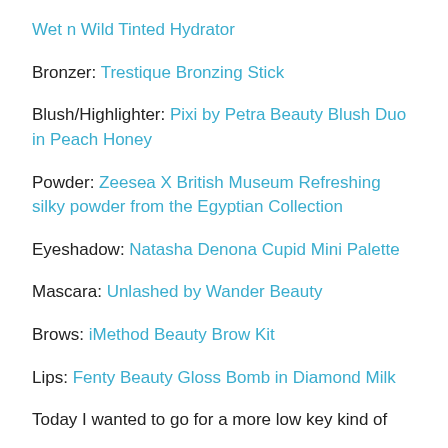Wet n Wild Tinted Hydrator (link, partially shown at top)
Bronzer: Trestique Bronzing Stick
Blush/Highlighter: Pixi by Petra Beauty Blush Duo in Peach Honey
Powder: Zeesea X British Museum Refreshing silky powder from the Egyptian Collection
Eyeshadow: Natasha Denona Cupid Mini Palette
Mascara: Unlashed by Wander Beauty
Brows: iMethod Beauty Brow Kit
Lips: Fenty Beauty Gloss Bomb in Diamond Milk
Today I wanted to go for a more low key kind of